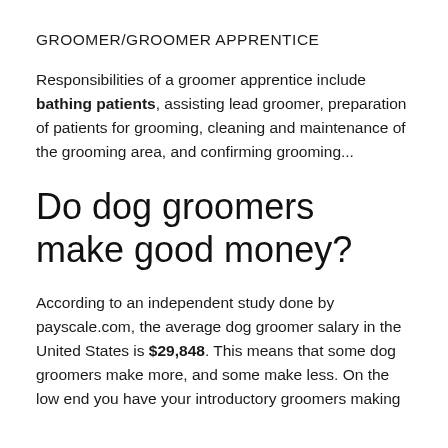GROOMER/GROOMER APPRENTICE
Responsibilities of a groomer apprentice include bathing patients, assisting lead groomer, preparation of patients for grooming, cleaning and maintenance of the grooming area, and confirming grooming...
Do dog groomers make good money?
According to an independent study done by payscale.com, the average dog groomer salary in the United States is $29,848. This means that some dog groomers make more, and some make less. On the low end you have your introductory groomers making